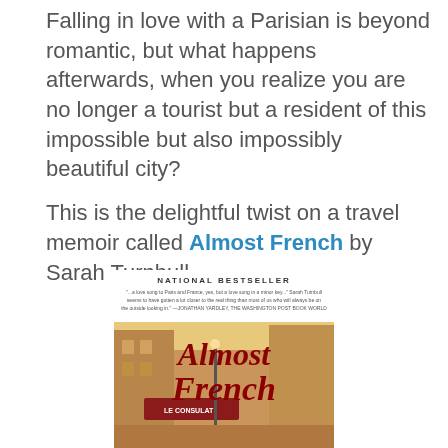Falling in love with a Parisian is beyond romantic, but what happens afterwards, when you realize you are no longer a tourist but a resident of this impossible but also impossibly beautiful city?

This is the delightful twist on a travel memoir called Almost French by Sarah Turnbull.
[Figure (photo): Book cover of 'Almost French' by Sarah Turnbull, showing NATIONAL BESTSELLER at top with a review quote, title in large red cursive script 'Almost French', and a warm golden-toned photograph of a Parisian street scene with a cafe (Le Consulat) in the background.]